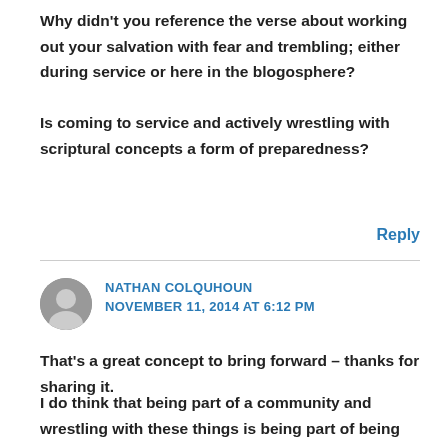Why didn't you reference the verse about working out your salvation with fear and trembling; either during service or here in the blogosphere?
Is coming to service and actively wrestling with scriptural concepts a form of preparedness?
Reply
NATHAN COLQUHOUN
NOVEMBER 11, 2014 AT 6:12 PM
That's a great concept to bring forward – thanks for sharing it.
I do think that being part of a community and wrestling with these things is being part of being prepared, but also living out the 'good works' that we were created to do.